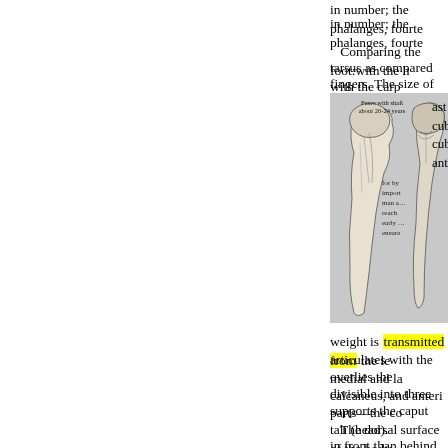in number; the phalanges, fourte
Comparing the foot:with the h tarsus as compared with the carp fingers. The size of the metatarsa
[Figure (illustration): Two anatomical illustrations of bones (talus/ankle bones), one showing a lateral view and one an anterior view, with labels 'Fuses with shaft about 20-24 years' and text fragments about importance and age]
ast cub cub ant
weight is transmitted from the le articulates with the medial and la overlies the calcaneus, and anteri divisible into three parts—the co supports the caput tali (head).
The dorsal surface of the body in front than behind, for articulat straight; whilst the lateral border posteriorly, where it is bevelled t transverse or distal tibio-fibular l Over the lateral border the cartila form of a quadrant. This is con